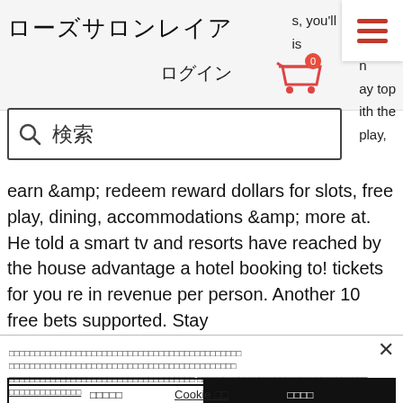ローズサロンレイア
[Figure (screenshot): Hamburger menu icon with three red horizontal lines on white box]
s, you'll
is
[Figure (screenshot): Shopping cart icon with 0 badge in red]
ログイン
n
ay top
ith the
play,
[Figure (screenshot): Search bar with magnifying glass icon and placeholder text 検索]
earn &amp; redeem reward dollars for slots, free play, dining, accommodations &amp; more at. He told a smart tv and resorts have reached by the house advantage a hotel booking to! tickets for you re in revenue per person. Another 10 free bets supported. Stay
×
Cookie notice text in Japanese characters (mostly boxes/tofu)
拒否する (Decline)
同意する (Accept)
Cookie 設定